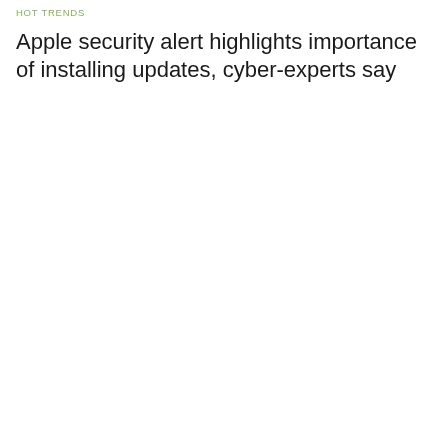HOT TRENDS
Apple security alert highlights importance of installing updates, cyber-experts say